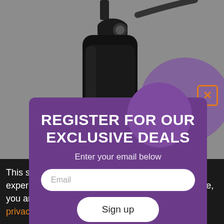[Figure (photo): Close-up photo of a black Shure SM7B dynamic microphone against a gray background]
Shure SM7B Dynamic Vocal Microphone
Mode
[Figure (screenshot): Email signup modal popup with purple background reading REGISTER FOR OUR EXCLUSIVE DEALS, Enter your email below, Email input field, Sign up button, No I don't want it link]
REGISTER FOR OUR EXCLUSIVE DEALS
Enter your email below
Email
Sign up
No, I don't want it
$399 - $399.99
2 offers
This site uses cookies to enhance your web site experience. By continuing to browse or use this site, you are agreeing to our use of cookies. See our privacy policy here.